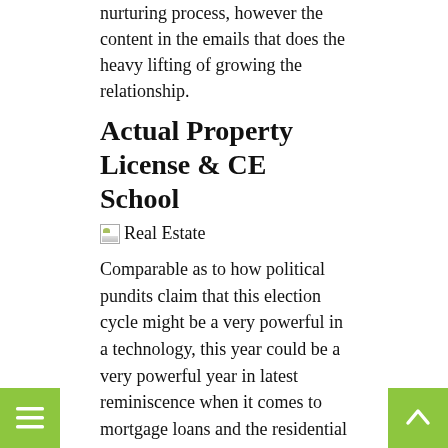nurturing process, however the content in the emails that does the heavy lifting of growing the relationship.
Actual Property License & CE School
[Figure (photo): Broken image placeholder with alt text 'Real Estate']
Comparable as to how political pundits claim that this election cycle might be a very powerful in a technology, this year could be a very powerful year in latest reminiscence when it comes to mortgage loans and the residential actual estate trade at large. The term actual estate typically refers to possession or use of land. A real estate agreement between a buyer and seller of actual property is ruled by general rules of contract regulation and individual state